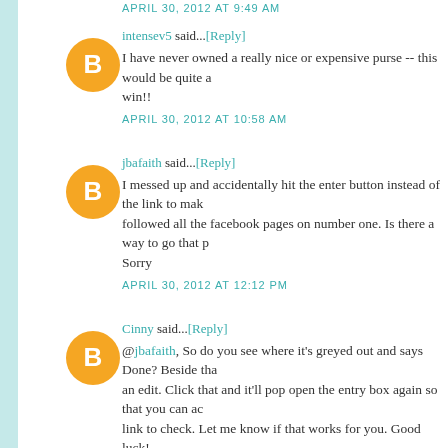APRIL 30, 2012 AT 9:49 AM
intensev5 said...[Reply]
I have never owned a really nice or expensive purse -- this would be quite a win!!
APRIL 30, 2012 AT 10:58 AM
jbafaith said...[Reply]
I messed up and accidentally hit the enter button instead of the link to make followed all the facebook pages on number one. Is there a way to go that p Sorry
APRIL 30, 2012 AT 12:12 PM
Cinny said...[Reply]
@jbafaith, So do you see where it's greyed out and says Done? Beside that an edit. Click that and it'll pop open the entry box again so that you can ac link to check. Let me know if that works for you. Good luck!
APRIL 30, 2012 AT 12:50 PM
jbafaith said...[Reply]